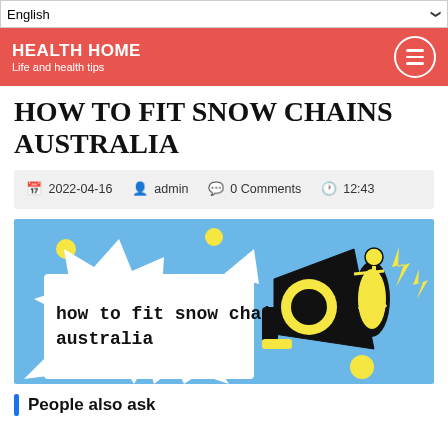English | HEALTH HOME Life and health tips
HOW TO FIT SNOW CHAINS AUSTRALIA
2022-04-16   admin   0 Comments   12:43
[Figure (illustration): Illustration showing text 'how to fit snow chains australia' in bold monospace font on a white speech bubble, with a person riding a large megaphone/loudspeaker, on a blue background with yellow accent shapes and lightning bolts.]
People also ask